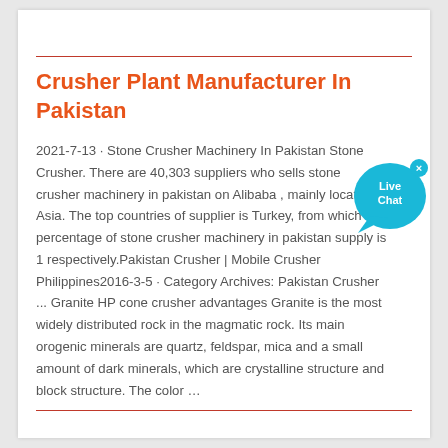Crusher Plant Manufacturer In Pakistan
2021-7-13 · Stone Crusher Machinery In Pakistan Stone Crusher. There are 40,303 suppliers who sells stone crusher machinery in pakistan on Alibaba , mainly located in Asia. The top countries of supplier is Turkey, from which the percentage of stone crusher machinery in pakistan supply is 1 respectively.Pakistan Crusher | Mobile Crusher Philippines2016-3-5 · Category Archives: Pakistan Crusher ... Granite HP cone crusher advantages Granite is the most widely distributed rock in the magmatic rock. Its main orogenic minerals are quartz, feldspar, mica and a small amount of dark minerals, which are crystalline structure and block structure. The color …
[Figure (illustration): Live Chat button: a teal/cyan circular speech bubble graphic with 'Live Chat' text in white, with a small x close button at top right and a tail/pointer at the bottom left.]